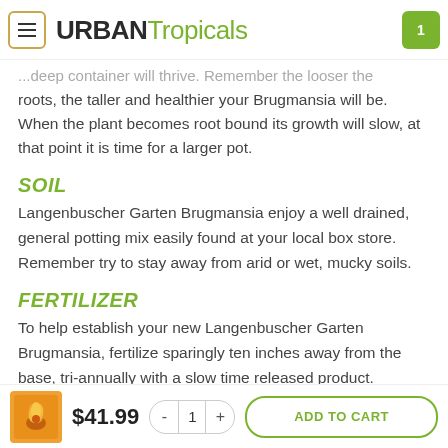URBAN Tropicals
deep container will thrive. Remember the looser the roots, the taller and healthier your Brugmansia will be. When the plant becomes root bound its growth will slow, at that point it is time for a larger pot.
SOIL
Langenbuscher Garten Brugmansia enjoy a well drained, general potting mix easily found at your local box store. Remember try to stay away from arid or wet, mucky soils.
FERTILIZER
To help establish your new Langenbuscher Garten Brugmansia, fertilize sparingly ten inches away from the base, tri-annually with a slow time released product. Unfertilized they will tend to grow at a slower pace. Note: The heavy salts in do... they will... to... all the r...
$41.99  - 1 +  ADD TO CART